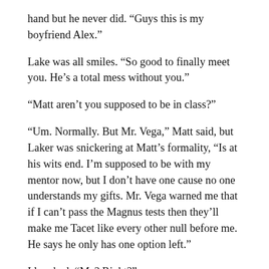hand but he never did. “Guys this is my boyfriend Alex.”
Lake was all smiles. “So good to finally meet you. He’s a total mess without you.”
“Matt aren’t you supposed to be in class?”
“Um. Normally. But Mr. Vega,” Matt said, but Laker was snickering at Matt’s formality, “Is at his wits end. I’m supposed to be with my mentor now, but I don’t have one cause no one understands my gifts. Mr. Vega warned me that if I can’t pass the Magnus tests then they’ll make me Tacet like every other null before me. He says he only has one option left.”
I laughed, “Me? Right?”
Matt nodded. “He said when you get back on duty